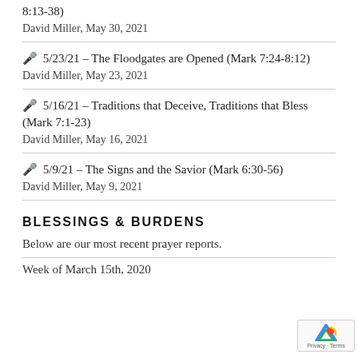8:13-38)
David Miller, May 30, 2021
🎤 5/23/21 – The Floodgates are Opened (Mark 7:24-8:12)
David Miller, May 23, 2021
🎤 5/16/21 – Traditions that Deceive, Traditions that Bless (Mark 7:1-23)
David Miller, May 16, 2021
🎤 5/9/21 – The Signs and the Savior (Mark 6:30-56)
David Miller, May 9, 2021
BLESSINGS & BURDENS
Below are our most recent prayer reports.
Week of March 15th, 2020